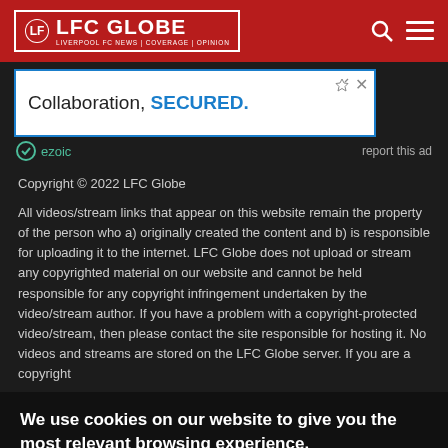[Figure (logo): LFC Globe logo — red bordered box with circular badge icon and text 'LFC GLOBE' in white bold, subtitle 'LIVERPOOL FC NEWS | COVERAGE | OPINION']
[Figure (screenshot): Advertisement banner showing text 'Collaboration, SECURED.' in blue bold on white background, with ezoic branding and 'report this ad' link]
Copyright © 2022 LFC Globe
All videos/stream links that appear on this website remain the property of the person who a) originally created the content and b) is responsible for uploading it to the internet. LFC Globe does not upload or stream any copyrighted material on our website and cannot be held responsible for any copyright infringement undertaken by the video/stream author. If you have a problem with a copyright-protected video/stream, then please contact the site responsible for hosting it. No videos and streams are stored on the LFC Globe server. If you are a copyright
We use cookies on our website to give you the most relevant browsing experience.